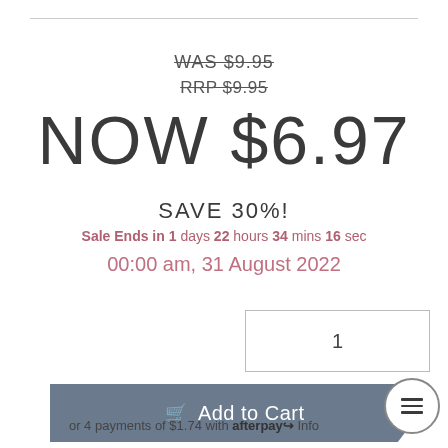WAS $9.95
RRP $9.95
NOW $6.97
SAVE 30%!
Sale Ends in 1 days 22 hours 34 mins 16 sec
00:00 am, 31 August 2022
1
Add to Cart
or 4 payments of $1.74 with afterpay Info